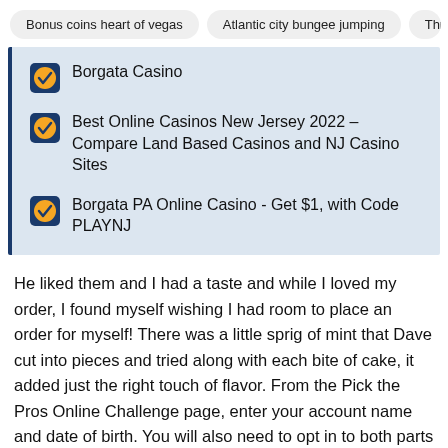Bonus coins heart of vegas | Atlantic city bungee jumping | Three
Borgata Casino
Best Online Casinos New Jersey 2022 – Compare Land Based Casinos and NJ Casino Sites
Borgata PA Online Casino - Get $1, with Code PLAYNJ
He liked them and I had a taste and while I loved my order, I found myself wishing I had room to place an order for myself! There was a little sprig of mint that Dave cut into pieces and tried along with each bite of cake, it added just the right touch of flavor. From the Pick the Pros Online Challenge page, enter your account name and date of birth. You will also need to opt in to both parts of the welcome